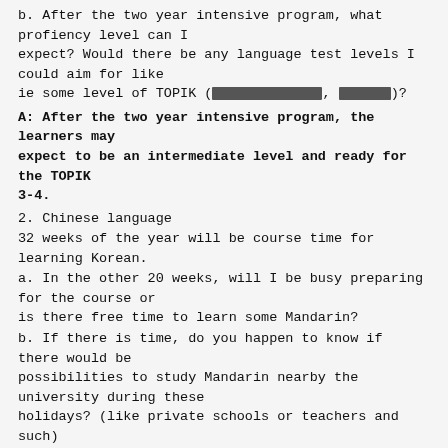b. After the two year intensive program, what profiency level can I expect? Would there be any language test levels I could aim for like ie some level of TOPIK ([redacted], [redacted])?
A: After the two year intensive program, the learners may expect to be an intermediate level and ready for the TOPIK 3-4.
2. Chinese language
32 weeks of the year will be course time for learning Korean.
a. In the other 20 weeks, will I be busy preparing for the course or is there free time to learn some Mandarin?
b. If there is time, do you happen to know if there would be possibilities to study Mandarin nearby the university during these holidays? (like private schools or teachers and such)
A: 32 weeks are the teaching weeks of shcool year. The other 20weeks are winter and summer holiday. You are free to learn Mandarin or other languages. It is very convenient to find Madarin (if you like Japanese or Russian)program or teachers on campus.